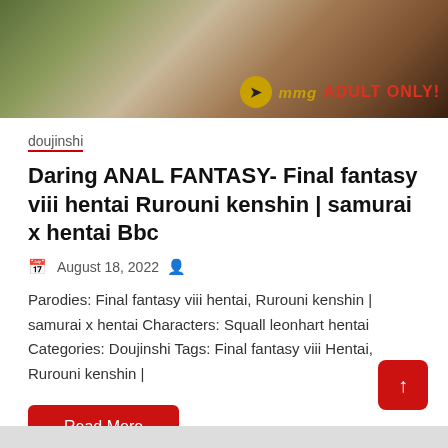[Figure (illustration): Anime/manga style banner image with illustrated characters, showing MMG logo with arrow icon and text 'ADULT ONLY!' in red on right side]
doujinshi
Daring ANAL FANTASY- Final fantasy viii hentai Rurouni kenshin | samurai x hentai Bbc
August 18, 2022
Parodies: Final fantasy viii hentai, Rurouni kenshin | samurai x hentai Characters: Squall leonhart hentai Categories: Doujinshi Tags: Final fantasy viii Hentai, Rurouni kenshin |
Read More